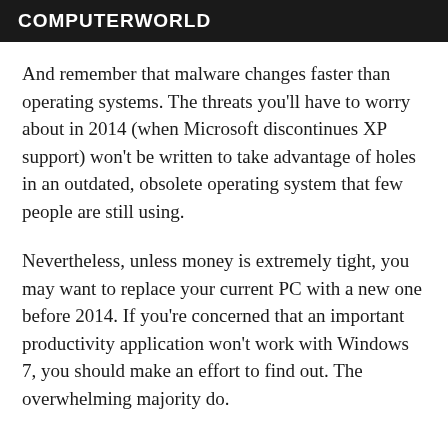COMPUTERWORLD
And remember that malware changes faster than operating systems. The threats you'll have to worry about in 2014 (when Microsoft discontinues XP support) won't be written to take advantage of holes in an outdated, obsolete operating system that few people are still using.
Nevertheless, unless money is extremely tight, you may want to replace your current PC with a new one before 2014. If you're concerned that an important productivity application won't work with Windows 7, you should make an effort to find out. The overwhelming majority do.